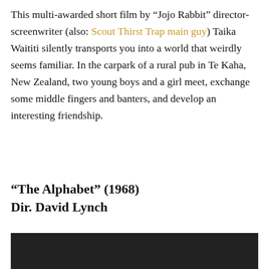This multi-awarded short film by “Jojo Rabbit” director-screenwriter (also: Scout Thirst Trap main guy) Taika Waititi silently transports you into a world that weirdly seems familiar. In the carpark of a rural pub in Te Kaha, New Zealand, two young boys and a girl meet, exchange some middle fingers and banters, and develop an interesting friendship.
“The Alphabet” (1968) Dir. David Lynch
[Figure (other): Dark/black video thumbnail image at the bottom of the page]